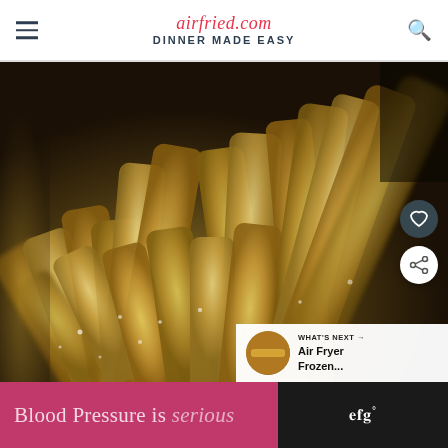airfried.com DINNER MADE EASY
[Figure (photo): Close-up photo of golden french fries piled together, showing salt crystals on the surface, with shallow depth of field. A dark heart icon button and a white share icon button are overlaid on the right side. A 'WHAT'S NEXT' panel in the bottom-right shows a thumbnail and text 'Air Fryer Frozen...']
WHAT'S NEXT → Air Fryer Frozen...
Blood Pressure is serious